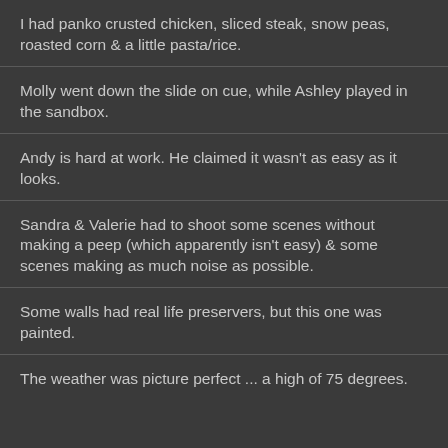I had panko crusted chicken, sliced steak, snow peas, roasted corn & a little pasta/rice.
Molly went down the slide on cue, while Ashley played in the sandbox.
Andy is hard at work. He claimed it wasn't as easy as it looks.
Sandra & Valerie had to shoot some scenes without making a peep (which apparently isn't easy) & some scenes making as much noise as possible.
Some walls had real life preservers, but this one was painted.
The weather was picture perfect ... a high of 75 degrees.